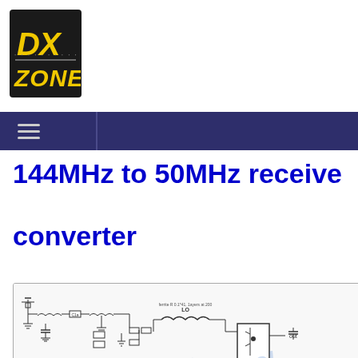[Figure (logo): DX Zone logo - black background with yellow DX text and ZONE text below, distressed/grunge style font]
144MHz to 50MHz receive converter
[Figure (circuit-diagram): Schematic diagram of a 144MHz to 50MHz receive converter circuit showing various electronic components including inductors, capacitors, and transistors with partial watermark overlay]